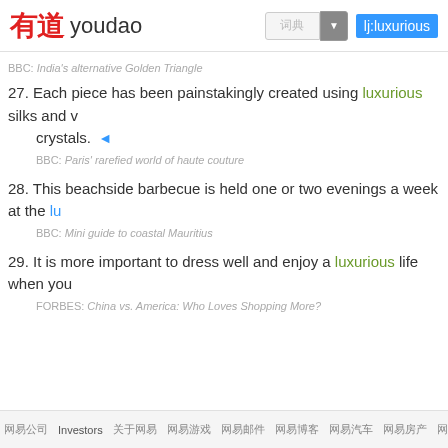[Figure (screenshot): Youdao dictionary website header with logo, search box showing Chinese characters, dropdown arrow, and search term 'lj:luxurious' highlighted in blue]
BBC: India's alternative Golden Triangle
27. Each piece has been painstakingly created using luxurious silks and v crystals. [audio]
BBC: Paris' rarefied world of haute couture
28. This beachside barbecue is held one or two evenings a week at the lu
BBC: Mini guide to coastal Mauritius
29. It is more important to dress well and enjoy a luxurious life when you
FORBES: China vs. America: Who Loves Shopping More?
网易公司 Investors 关于网易 网易游戏 网易邮件 网易博客 网易汽车 网易房产 网易邮件